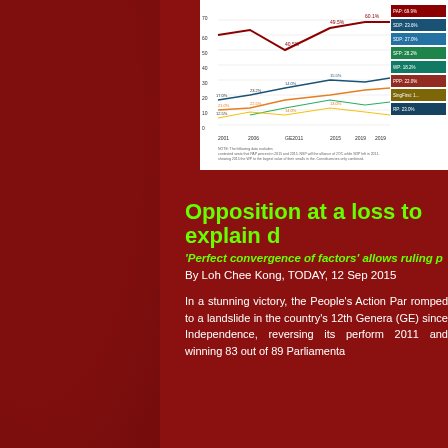[Figure (line-chart): Multi-line chart showing electoral vote share percentages over multiple general elections for various Singapore political parties including PAP, SDP, WP, NSP, SPP and others. Lines show trends from approximately 2001 to 2015 with legend on right side.]
Opposition at a loss to explain d
'Perfect convergence of factors' allows ruling p
By Loh Chee Kong, TODAY, 12 Sep 2015
In a stunning victory, the People's Action Par romped to a landslide in the country's 12th Genera (GE) since Independence, reversing its perform 2011 and winning 83 out of 89 Parliamenta